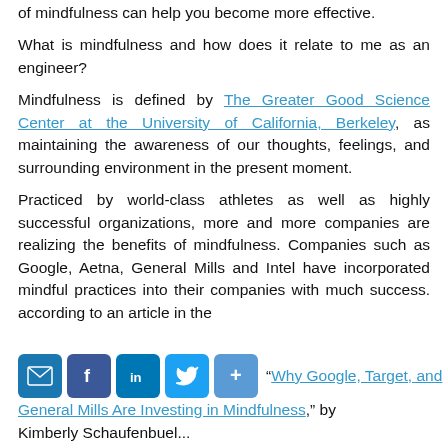of mindfulness can help you become more effective.
What is mindfulness and how does it relate to me as an engineer?
Mindfulness is defined by The Greater Good Science Center at the University of California, Berkeley, as maintaining the awareness of our thoughts, feelings, and surrounding environment in the present moment.
Practiced by world-class athletes as well as highly successful organizations, more and more companies are realizing the benefits of mindfulness. Companies such as Google, Aetna, General Mills and Intel have incorporated mindful practices into their companies with much success. according to an article in the H... "Why Google, Target, and General Mills Are Investing in Mindfulness," by Kimberly Schaufenbuel...